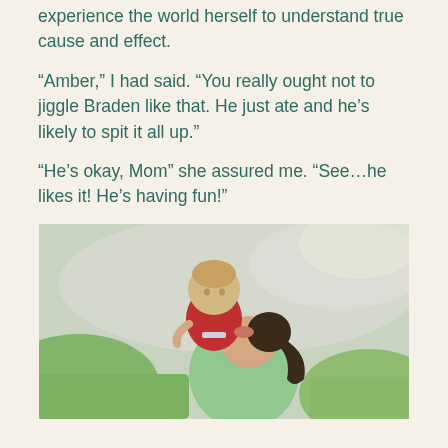experience the world herself to understand true cause and effect.
“Amber,” I had said. “You really ought not to jiggle Braden like that. He just ate and he’s likely to spit it all up.”
“He’s okay, Mom” she assured me. “See…he likes it! He’s having fun!”
[Figure (photo): A young woman holding a baby up to her face for a kiss, outdoors on grass with a road/path in the background. The woman wears a light green top and has her hair in a ponytail; the baby wears a red outfit.]